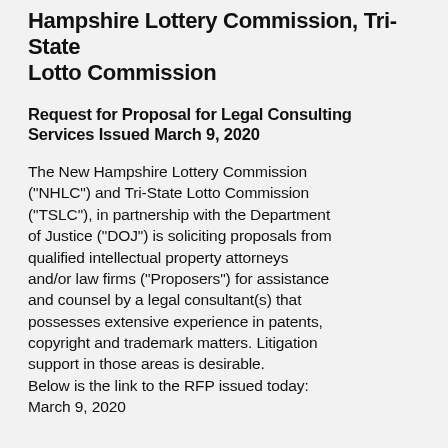Hampshire Lottery Commission, Tri-State Lotto Commission
Request for Proposal for Legal Consulting Services Issued March 9, 2020
The New Hampshire Lottery Commission ("NHLC") and Tri-State Lotto Commission ("TSLC"), in partnership with the Department of Justice ("DOJ") is soliciting proposals from qualified intellectual property attorneys and/or law firms ("Proposers") for assistance and counsel by a legal consultant(s) that possesses extensive experience in patents, copyright and trademark matters. Litigation support in those areas is desirable.
Below is the link to the RFP issued today: March 9, 2020